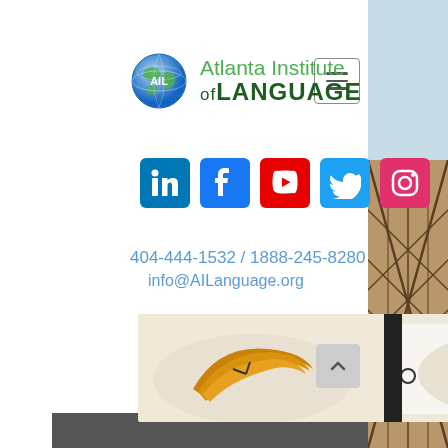[Figure (logo): Atlanta Institute of Language logo with globe icon and green text]
[Figure (other): Navigation hamburger menu button (three horizontal lines in a bordered square)]
[Figure (other): Row of social media icons: LinkedIn (blue), Facebook (blue), YouTube (red), Twitter (light blue), Instagram (pink)]
404-444-1532 / 1888-245-8280
info@AILanguage.org
[Figure (photo): Photo of two croissants on white plates, with a leopard-print fabric in corner]
[Figure (other): Back to top arrow button]
[Figure (other): Dark grey bar at bottom of page, partially visible]
[Figure (photo): Right side strip showing Louvre pyramid glass and metal structure]
[Figure (photo): Left bottom strip showing partial architectural scene]